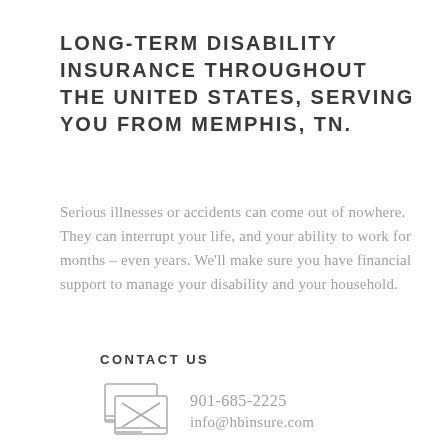LONG-TERM DISABILITY INSURANCE THROUGHOUT THE UNITED STATES, SERVING YOU FROM MEMPHIS, TN.
Serious illnesses or accidents can come out of nowhere. They can interrupt your life, and your ability to work for months – even years. We'll make sure you have financial support to manage your disability and your household.
CONTACT US
[Figure (illustration): Envelope/mail icon with two overlapping rectangles and an X symbol representing email/contact]
901-685-2225
info@hbinsure.com